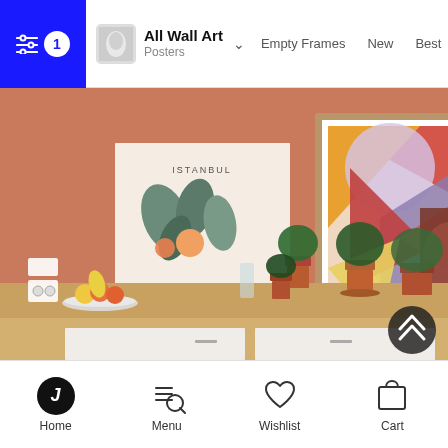All Wall Art / Posters  Empty Frames  New  Best
[Figure (photo): Kitchen interior with terracotta-orange walls. Two framed art posters hang on the wall: one showing 'ISTANBUL' botanical design with leaves and peaches, another large geometric abstract artwork in warm colors. A wooden countertop holds several terracotta plant pots with tropical plants, a bowl of fruit (bananas, oranges), and a glass vase.]
Home  Menu  Wishlist  Cart